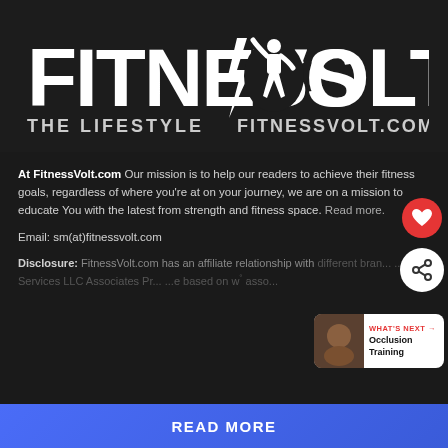[Figure (logo): FITNESS VOLT logo with lightning bolt and muscular figure silhouette. Text below reads 'THE LIFESTYLE' and 'FITNESSVOLT.COM']
At FitnessVolt.com Our mission is to help our readers to achieve their fitness goals, regardless of where you're at on your journey, we are on a mission to educate You with the latest from strength and fitness space. Read more.
Email: sm(at)fitnessvolt.com
Disclosure: FitnessVolt.com has an affiliate relationship with different brands...Amazon Services LLC Associates Program...based on w... associates...
READ MORE